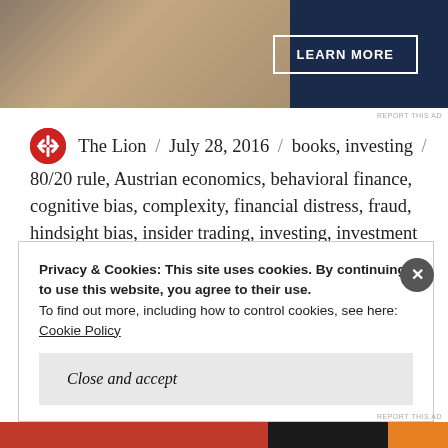[Figure (photo): Advertisement banner with dark navy background and LEARN MORE button, with a partial photo of a person on the left side]
REPORT THIS AD
The Lion / July 28, 2016 / books, investing / 80/20 rule, Austrian economics, behavioral finance, cognitive bias, complexity, financial distress, fraud, hindsight bias, insider trading, investing, investment process, Magic Formula, models, poker, psychology, quality vs price, quantitative value, reference, review, short selling, simplicity, valuation, value investing, Warren Buffett
Privacy & Cookies: This site uses cookies. By continuing to use this website, you agree to their use.
To find out more, including how to control cookies, see here:
Cookie Policy
Close and accept